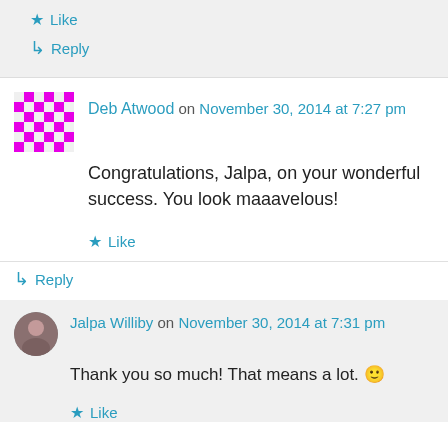★ Like
↳ Reply
Deb Atwood on November 30, 2014 at 7:27 pm
Congratulations, Jalpa, on your wonderful success. You look maaavelous!
★ Like
↳ Reply
Jalpa Williby on November 30, 2014 at 7:31 pm
Thank you so much! That means a lot. 🙂
★ Like